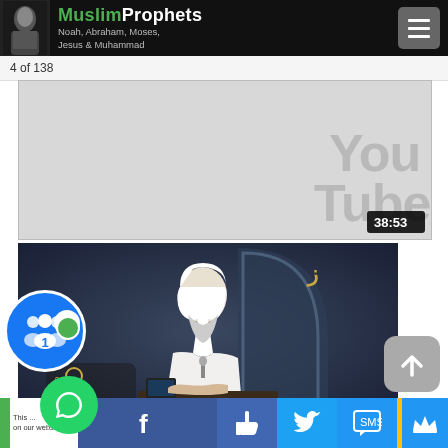MuslimProphets — Noah, Abraham, Moses, Jesus & Muhammad
4 of 138
[Figure (screenshot): Video thumbnail showing YouTube logo watermark and duration badge 38:53 on gray background]
[Figure (screenshot): Video thumbnail showing scholar in white thobe and headscarf seated at desk with 'ask Zod' studio set]
Coronavirus: What should we do? - Assim Al-Hakeem
This ... on our webs...